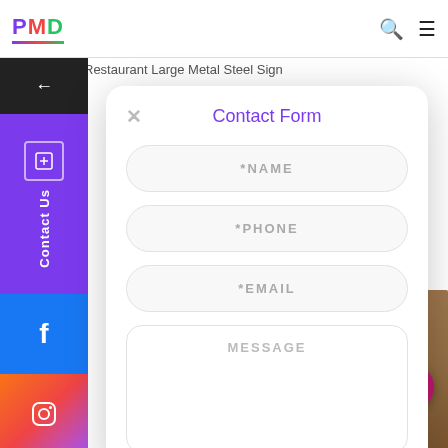PMD
Restaurant Large Metal Steel Sign
nmon Yu-Gi-
EARL
M
Pooh Cup
[Figure (screenshot): Contact Form modal overlay with fields for Name, Phone, Email, and Message]
Contact Form
*NAME
*PHONE
*EMAIL
MESSAGE